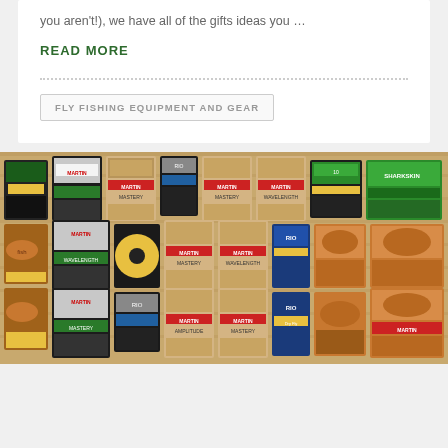you aren't!), we have all of the gifts ideas you …
READ MORE
FLY FISHING EQUIPMENT AND GEAR
[Figure (photo): Wall display of fly fishing line packages and spools at a retail store, showing multiple RIO and Martin James branded products arranged in rows on wooden shelving.]